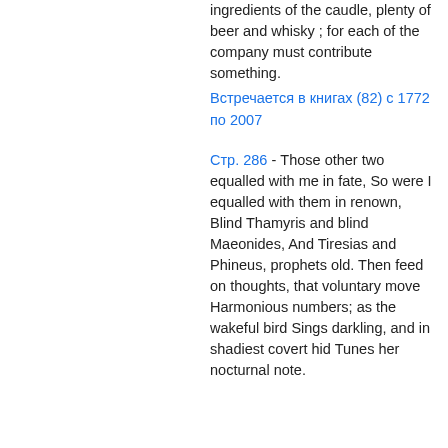ingredients of the caudle, plenty of beer and whisky ; for each of the company must contribute something.
Встречается в книгах (82) с 1772 по 2007
Стр. 286 - Those other two equalled with me in fate, So were I equalled with them in renown, Blind Thamyris and blind Maeonides, And Tiresias and Phineus, prophets old. Then feed on thoughts, that voluntary move Harmonious numbers; as the wakeful bird Sings darkling, and in shadiest covert hid Tunes her nocturnal note.